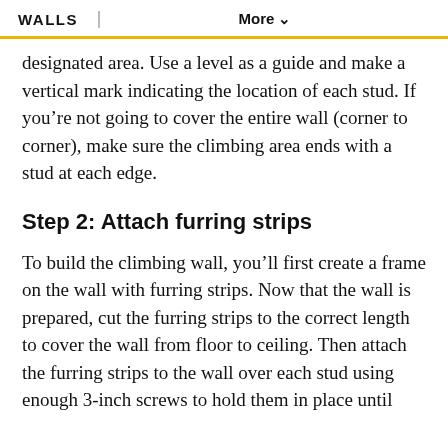WALLS   More
designated area. Use a level as a guide and make a vertical mark indicating the location of each stud. If you're not going to cover the entire wall (corner to corner), make sure the climbing area ends with a stud at each edge.
Step 2: Attach furring strips
To build the climbing wall, you'll first create a frame on the wall with furring strips. Now that the wall is prepared, cut the furring strips to the correct length to cover the wall from floor to ceiling. Then attach the furring strips to the wall over each stud using enough 3-inch screws to hold them in place until